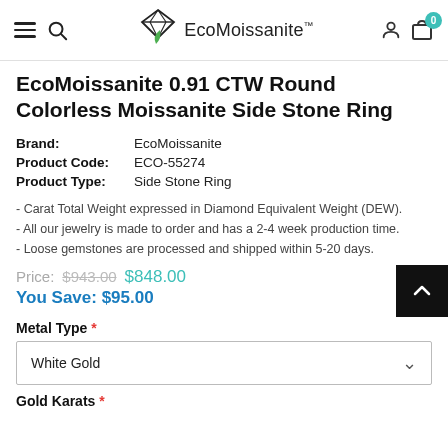EcoMoissanite — navigation bar with hamburger menu, search, logo, account, and cart (0)
EcoMoissanite 0.91 CTW Round Colorless Moissanite Side Stone Ring
| Field | Value |
| --- | --- |
| Brand: | EcoMoissanite |
| Product Code: | ECO-55274 |
| Product Type: | Side Stone Ring |
- Carat Total Weight expressed in Diamond Equivalent Weight (DEW).
- All our jewelry is made to order and has a 2-4 week production time.
- Loose gemstones are processed and shipped within 5-20 days.
Price: $943.00  $848.00
You Save: $95.00
Metal Type *
White Gold
Gold Karats *